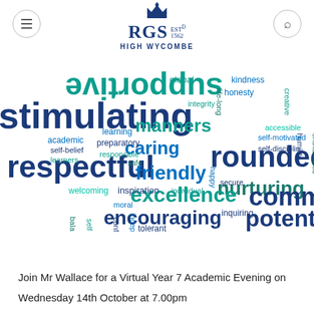[Figure (logo): RGS High Wycombe school logo with crown, text RGS EST 1562 HIGH WYCOMBE]
[Figure (infographic): Word cloud showing school values including: stimulating, supportive, inclusive, respectful, rounded, nurturing, excellence, community, potential, encouraging, friendly, caring, manners, and many more words in blue and teal colors]
Join Mr Wallace for a Virtual Year 7 Academic Evening on Wednesday 14th October at 7.00pm